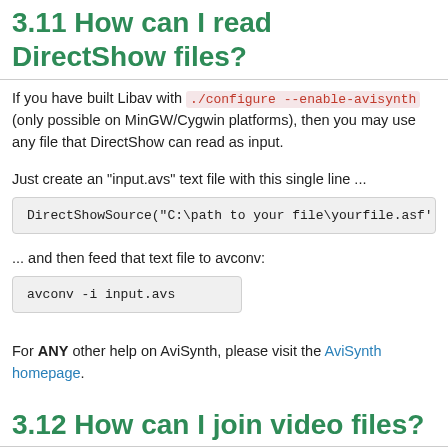3.11 How can I read DirectShow files?
If you have built Libav with ./configure --enable-avisynth (only possible on MinGW/Cygwin platforms), then you may use any file that DirectShow can read as input.
Just create an "input.avs" text file with this single line ...
DirectShowSource("C:\path to your file\yourfile.asf'
... and then feed that text file to avconv:
avconv -i input.avs
For ANY other help on AviSynth, please visit the AviSynth homepage.
3.12 How can I join video files?